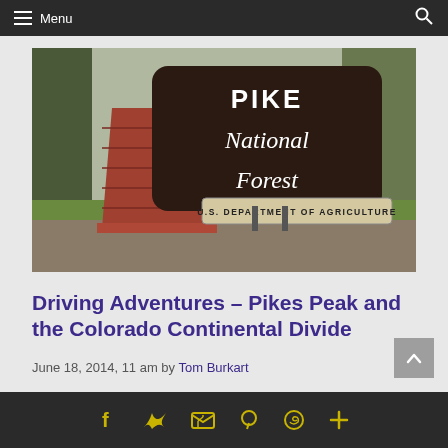Menu
[Figure (photo): A Pike National Forest sign made of dark wood with white lettering reading 'PIKE National Forest', mounted on a red brick pillar. A smaller sign below reads 'U.S. DEPARTMENT OF AGRICULTURE'. Trees and brush visible in background.]
Driving Adventures – Pikes Peak and the Colorado Continental Divide
June 18, 2014, 11 am by Tom Burkart